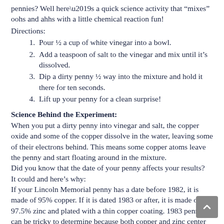pennies? Well here’s a quick science activity that “mixes” oohs and ahhs with a little chemical reaction fun!
Directions:
1. Pour ½ a cup of white vinegar into a bowl.
2. Add a teaspoon of salt to the vinegar and mix until it’s dissolved.
3. Dip a dirty penny ½ way into the mixture and hold it there for ten seconds.
4. Lift up your penny for a clean surprise!
Science Behind the Experiment:
When you put a dirty penny into vinegar and salt, the copper oxide and some of the copper dissolve in the water, leaving some of their electrons behind. This means some copper atoms leave the penny and start floating around in the mixture.
Did you know that the date of your penny affects your results?
It could and here’s why:
If your Lincoln Memorial penny has a date before 1982, it is made of 95% copper. If it is dated 1983 or after, it is made of 97.5% zinc and plated with a thin copper coating. 1983 pennies can be tricky to determine because both copper and zinc center were made during that year. Using this